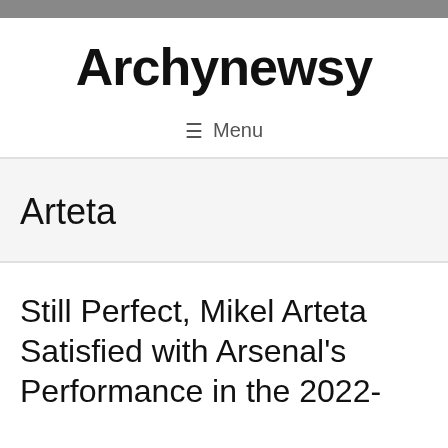Archynewsy
≡ Menu
Arteta
Still Perfect, Mikel Arteta Satisfied with Arsenal's Performance in the 2022-